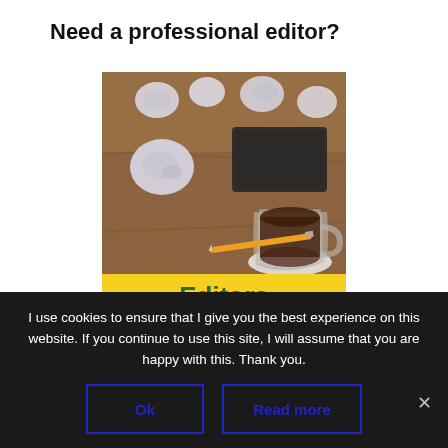Need a professional editor?
[Figure (photo): A wooden desk with crumpled paper balls, a black tablet/notebook, a pencil, and a glass coffee cup on a saucer. Overlaid at the bottom is a yellow banner with the word 'Editors' in bold green text.]
I use cookies to ensure that I give you the best experience on this website. If you continue to use this site, I will assume that you are happy with this. Thank you.
Ok
Read more